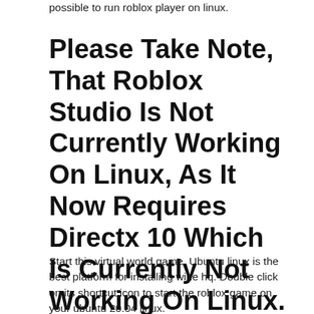possible to run roblox player on linux.
Please Take Note, That Roblox Studio Is Not Currently Working On Linux, As It Now Requires Directx 10 Which Is Currently Not Working On Linux.
Start this virtual world game. Ubuntu linux is the best platform for installing wine hq. Double click on its shortcut icon to start the roblox game on your ubuntu 20.04 linux.